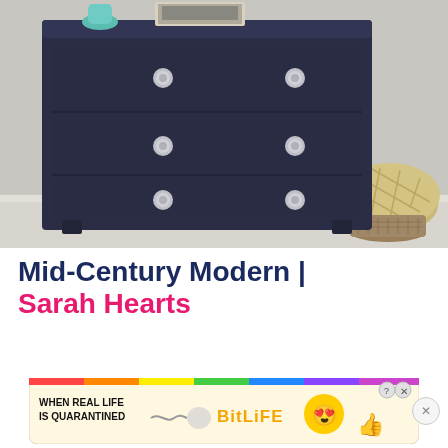[Figure (photo): A dark navy blue three-drawer dresser with decorative silver knob handles on each drawer, placed against a beige wall on light carpet. On top of the dresser sits a teal vase and a framed photo. To the right is a woven textile pouf and a wicker basket.]
Mid-Century Modern | Sarah Hearts
Partial text cut off at bottom of page
[Figure (infographic): Advertisement banner: WHEN REAL LIFE IS QUARANTINED — BitLife game ad with colorful emoji characters]